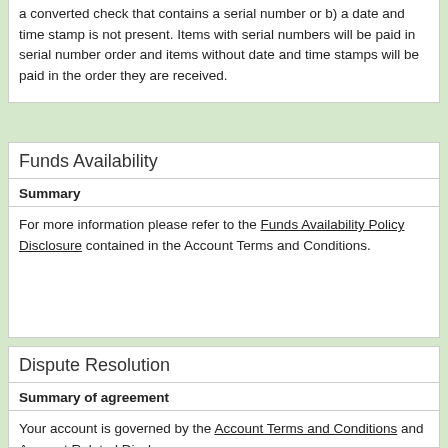a converted check that contains a serial number or b) a date and time stamp is not present. Items with serial numbers will be paid in serial number order and items without date and time stamps will be paid in the order they are received.
Funds Availability
Summary
For more information please refer to the Funds Availability Policy Disclosure contained in the Account Terms and Conditions.
Dispute Resolution
Summary of agreement
Your account is governed by the Account Terms and Conditions and Account Related Disclosures. Please refer to this Agreement for complete account details.